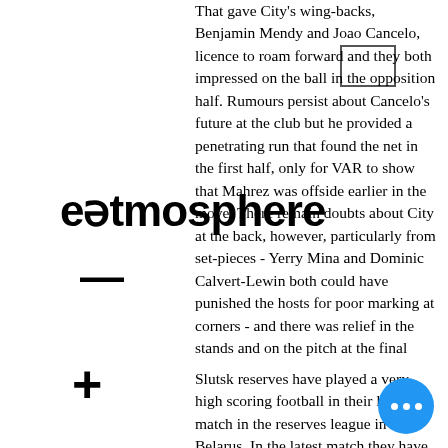That gave City's wing-backs, Benjamin Mendy and Joao Cancelo, licence to roam forward and they both impressed on the ball in the opposition half. Rumours persist about Cancelo's future at the club but he provided a penetrating run that found the net in the first half, only for VAR to show that Mahrez was offside earlier in the move. There remain doubts about City at the back, however, particularly from set-pieces - Yerry Mina and Dominic Calvert-Lewin both could have punished the hosts for poor marking at corners - and there was relief in the stands and on the pitch at the final
Slutsk reserves have played a very high scoring football in their latest match in the reserves league in Belarus. In the latest match they have lost to Isloch Minsk reserves and conceded 4 goals. Before they have recorded a 5-1 win in the match